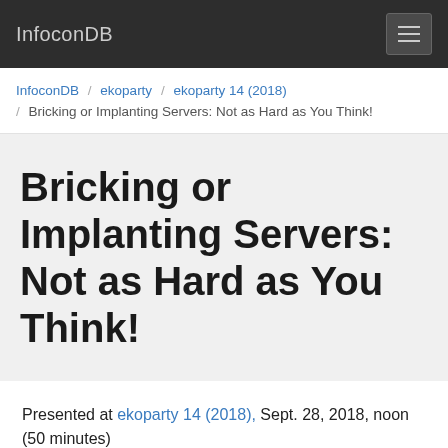InfoconDB
InfoconDB / ekoparty / ekoparty 14 (2018) / Bricking or Implanting Servers: Not as Hard as You Think!
Bricking or Implanting Servers: Not as Hard as You Think!
Presented at ekoparty 14 (2018), Sept. 28, 2018, noon (50 minutes)
In an age of cloud, containers, and serverless computing, it's easy